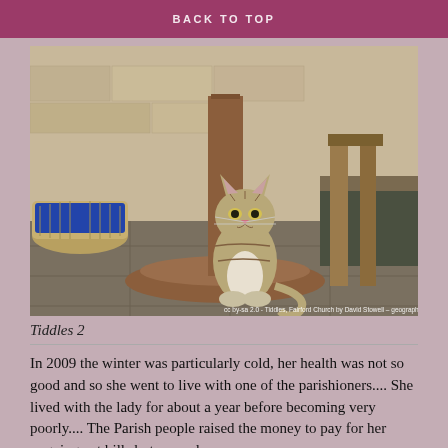BACK TO TOP
[Figure (photo): A tabby cat sitting on a stone floor inside a church, between a wooden lectern base and a wooden chair/stand. A wicker basket with blue cushion is visible on the left. Stone walls in background.]
Tiddles 2
In 2009 the winter was particularly cold, her health was not so good and so she went to live with one of the parishioners.... She lived with the lady for about a year before becoming very poorly.... The Parish people raised the money to pay for her ongoing vet bills but several